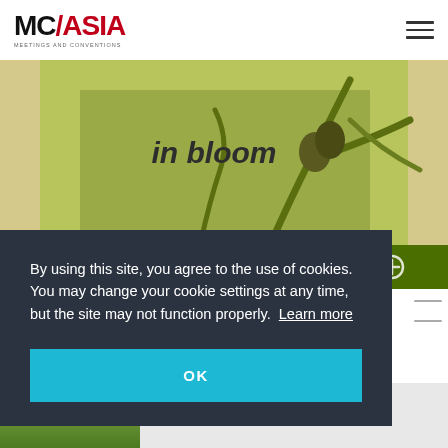MC/ASIA MEETINGS AND CONVENTIONS
[Figure (photo): Hero image showing botanical/plant stems with seed pods and text 'in bloom' overlaid]
[Figure (infographic): Green toolbar with four icons: grid, list, location pin, and plus/add]
By using this site, you agree to the use of cookies. You may change your cookie settings at any time, but the site may not function properly. Learn more
OK
[Figure (photo): Partial thumbnail image at bottom left, appears to show people outdoors]
The...